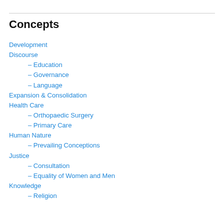Concepts
Development
Discourse
– Education
– Governance
– Language
Expansion & Consolidation
Health Care
– Orthopaedic Surgery
– Primary Care
Human Nature
– Prevailing Conceptions
Justice
– Consultation
– Equality of Women and Men
Knowledge
– Religion